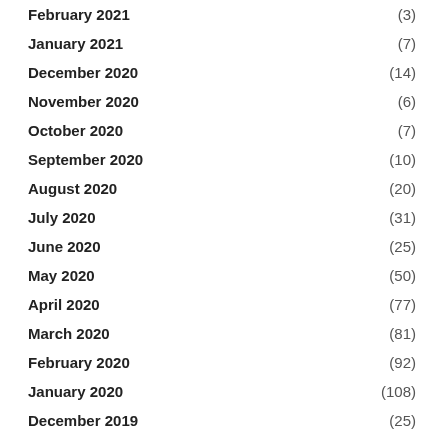February 2021 (3)
January 2021 (7)
December 2020 (14)
November 2020 (6)
October 2020 (7)
September 2020 (10)
August 2020 (20)
July 2020 (31)
June 2020 (25)
May 2020 (50)
April 2020 (77)
March 2020 (81)
February 2020 (92)
January 2020 (108)
December 2019 (25)